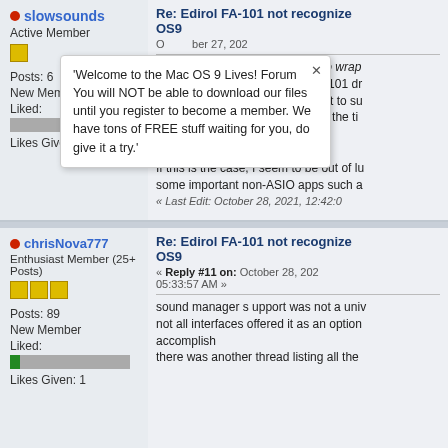slowsounds
Active Member
Posts: 6
New Member
Liked:
Likes Given: 0
Re: Edirol FA-101 not recognize OS9 - October 27, 202...
'Welcome to the Mac OS 9 Lives! Forum You will NOT be able to download our files until you register to become a member. We have tons of FREE stuff waiting for you, do give it a try.'
here's something I'm struggling to wrap... Is it indeed the case that the FA-101 dr... Manager drivers? Is it only meant to su... pro/prosumer audio interfaces of the ti... drivers and not Sound Manager?

If this is the case, I seem to be out of lu... some important non-ASIO apps such a...
« Last Edit: October 28, 2021, 12:42:0...
chrisNova777
Enthusiast Member (25+ Posts)
Posts: 89
New Member
Liked:
Likes Given: 1
Re: Edirol FA-101 not recognize OS9
« Reply #11 on: October 28, 202... 05:33:57 AM »
sound manager s upport was not a univ... not all interfaces offered it as an option... accomplish
there was another thread listing all the...